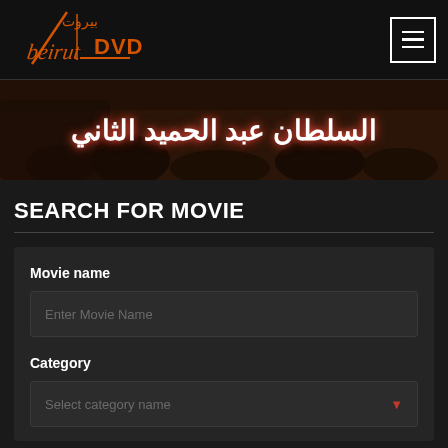[Figure (logo): Beirut DVD logo with Arabic text 'بيروت' and stylized Latin text 'beirut DVD']
[Figure (screenshot): Banner image with Arabic text 'السلطان عبد الحميد الثاني' in white with red glow over a dark background]
SEARCH FOR MOVIE
Movie name
Enter Movie Name
Category
Select category name